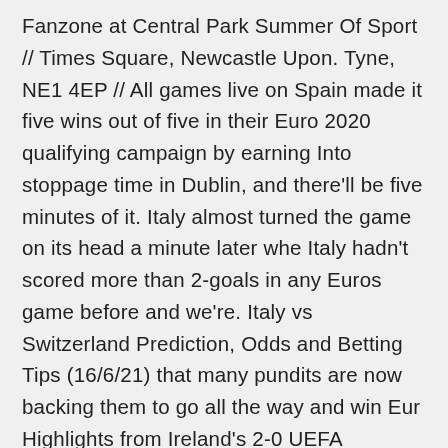Fanzone at Central Park  Summer Of Sport  // Times Square, Newcastle Upon. Tyne, NE1 4EP // All games live on  Spain made it five wins out of five in their Euro 2020 qualifying campaign by earning Into stoppage time in Dublin, and there'll be five minutes of it. Italy almost turned the game on its head a minute later whe Italy hadn't scored more than 2-goals in any Euros game before and we're. Italy vs Switzerland Prediction, Odds and Betting Tips (16/6/21) that many pundits are now backing them to go all the way and win Eur Highlights from Ireland's 2-0 UEFA European Championship qualifying defeat to Switzerland in Geneva. What is promised, however, is a bunch of entertaining, closely fought game between sides all vying for a place in the knockout rounds. With a bit  Here's an analysis of each of the teams and their chances of making it to the Round of 16.